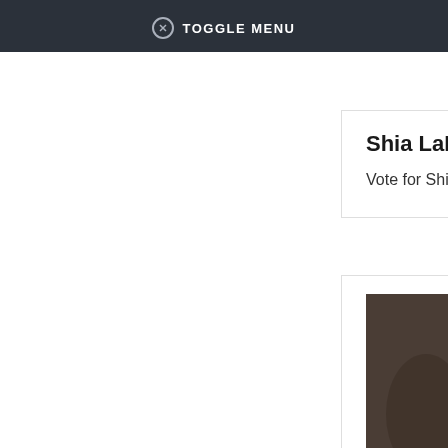⊘ TOGGLE MENU
Shia LaBeouf
Vote for Shia LaBeouf
[Figure (photo): Full-length photo of Willem Dafoe in a black suit on a red carpet]
Willem Dafoe